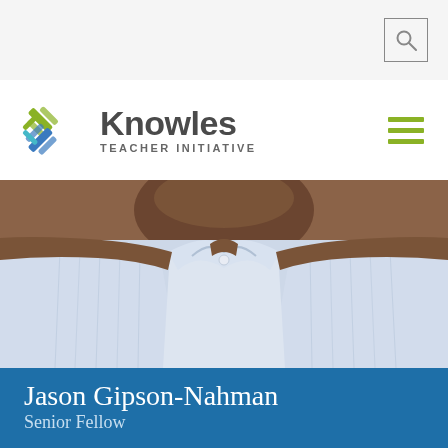[Figure (logo): Knowles Teacher Initiative logo with stylized X mark in blue and green, followed by 'Knowles TEACHER INITIATIVE' text]
[Figure (photo): Close-up photo of a person wearing a light blue striped dress shirt, dark skin, chin visible at top of frame]
Jason Gipson-Nahman
Senior Fellow